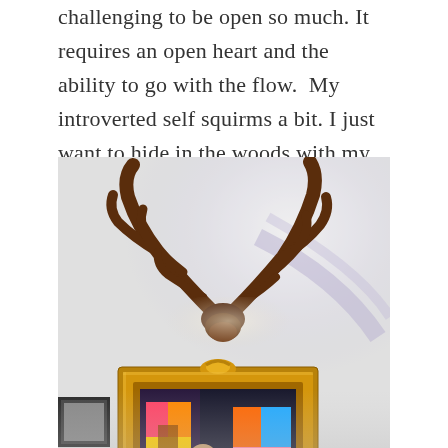challenging to be open so much. It requires an open heart and the ability to go with the flow.  My introverted self squirms a bit. I just want to hide in the woods with my deer antlers.
[Figure (photo): A photograph showing mounted deer antlers on a white wall above an ornate gold-framed mirror. The mirror reflects colorful artwork and a person partially visible. The scene has bright overexposed lighting.]